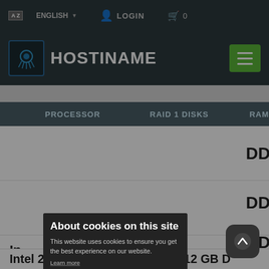ENGLISH  LOGIN  0
[Figure (screenshot): Hostiname website header with logo and hamburger menu button]
PROCESSOR  RAID 1 DISKS  RAM
[Figure (screenshot): Cookie consent modal overlay: 'About cookies on this site' with Allow all cookies and Cookie settings buttons]
About cookies on this site
This website uses cookies to ensure you get the best experience on our website.
Learn more
Allow all cookies
Cookie settings
Intel 2x Xeon E5  2x4 TB  512 GB DD